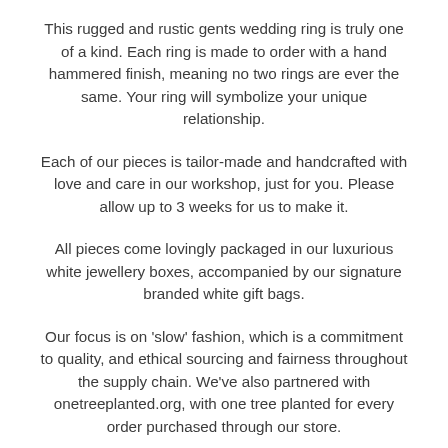This rugged and rustic gents wedding ring is truly one of a kind. Each ring is made to order with a hand hammered finish, meaning no two rings are ever the same. Your ring will symbolize your unique relationship.
Each of our pieces is tailor-made and handcrafted with love and care in our workshop, just for you. Please allow up to 3 weeks for us to make it.
All pieces come lovingly packaged in our luxurious white jewellery boxes, accompanied by our signature branded white gift bags.
Our focus is on 'slow' fashion, which is a commitment to quality, and ethical sourcing and fairness throughout the supply chain. We've also partnered with onetreeplanted.org, with one tree planted for every order purchased through our store.
-Details-
Width of band is 7mm wide approximately